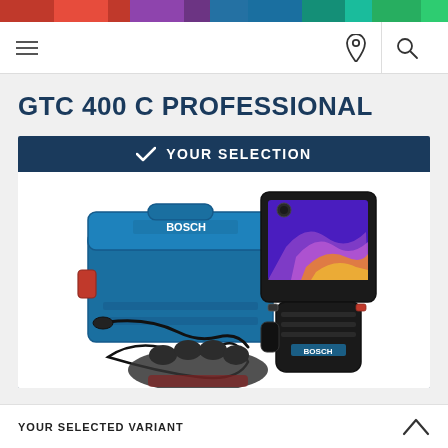Navigation bar with hamburger menu, location pin, and search icons
GTC 400 C PROFESSIONAL
✓ YOUR SELECTION
[Figure (photo): Bosch GTC 400 C Professional thermal camera product set including L-BOXX carrying case (blue with red latches), USB cable, wrist strap, protective glove, and the thermal imaging camera device showing a thermal image on its screen]
YOUR SELECTED VARIANT